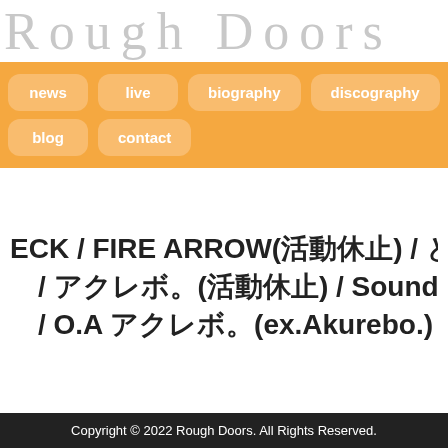Rough Doors
news
live
biography
discography
blog
contact
ECK / FIRE ARROW(活動休止) / ときめきベイビー / Rough Doors / イミナ / アクレボ。(活動休止) / Sound Graph(活動休止) / Aco / O.A アクレボ。(ex.Akurebo.)
Copyright © 2022 Rough Doors. All Rights Reserved.